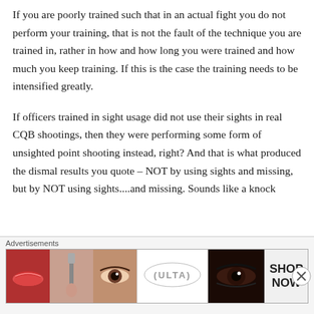If you are poorly trained such that in an actual fight you do not perform your training, that is not the fault of the technique you are trained in, rather in how and how long you were trained and how much you keep training. If this is the case the training needs to be intensified greatly.
If officers trained in sight usage did not use their sights in real CQB shootings, then they were performing some form of unsighted point shooting instead, right? And that is what produced the dismal results you quote – NOT by using sights and missing, but by NOT using sights....and missing. Sounds like a knock
Advertisements
[Figure (photo): Advertisement banner for ULTA beauty with makeup imagery (lips, brush, eye, ULTA logo, eye with dark makeup) and SHOP NOW call to action]